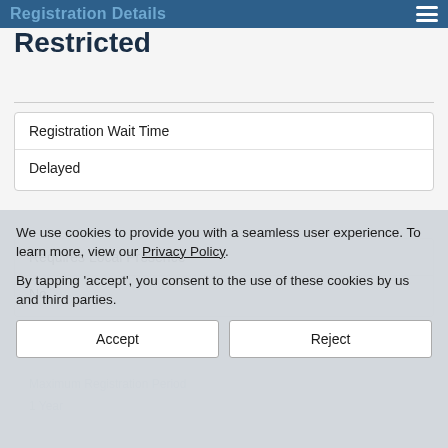Registration Details Restricted
Restricted
| Registration Wait Time | Delayed |
| --- | --- |
| Requires Local Presence | No |
| --- | --- |
We use cookies to provide you with a seamless user experience. To learn more, view our Privacy Policy.

By tapping ‘accept’, you consent to the use of these cookies by us and third parties.
Accept | Reject